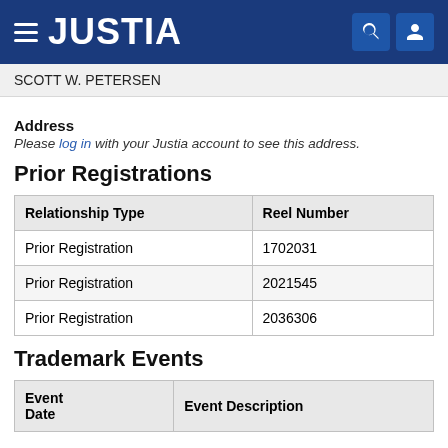JUSTIA
SCOTT W. PETERSEN
Address
Please log in with your Justia account to see this address.
Prior Registrations
| Relationship Type | Reel Number |
| --- | --- |
| Prior Registration | 1702031 |
| Prior Registration | 2021545 |
| Prior Registration | 2036306 |
Trademark Events
| Event Date | Event Description |
| --- | --- |